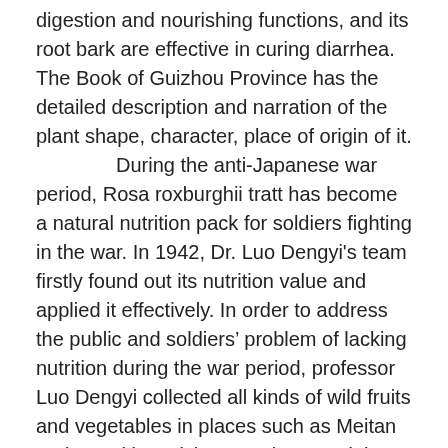digestion and nourishing functions, and its root bark are effective in curing diarrhea. The Book of Guizhou Province has the detailed description and narration of the plant shape, character, place of origin of it.

During the anti-Japanese war period, Rosa roxburghii tratt has become a natural nutrition pack for soldiers fighting in the war. In 1942, Dr. Luo Dengyi's team firstly found out its nutrition value and applied it effectively. In order to address the public and soldiers' problem of lacking nutrition during the war period, professor Luo Dengyi collected all kinds of wild fruits and vegetables in places such as Meitan and Huaxi in Guizhou province, and then analyzed the nutrition components. He aimed to find more wild food resources that can be used to relieve the public's pain of suffering from starvation and help the people in misery. In his research, he found out that the wild Rosa roxburghii tratt in Guizhou contains rich vitamin C, vitamin P and vitamin K. Among these, vitamin C is as high as 1980-3750mg in per 100g pulp, way higher than in any other fruits and vegetables. And this became an important...